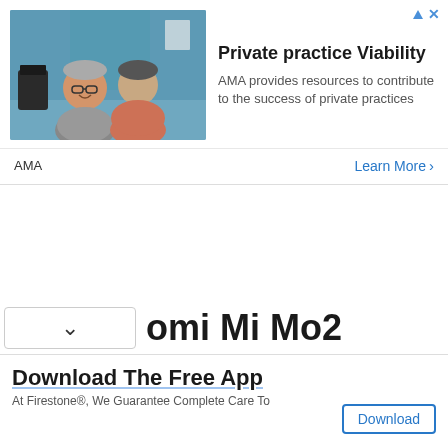[Figure (photo): Photo of two people, an older man with glasses smiling and a woman in a salmon/peach top, appearing to be in a medical office setting]
Private practice Viability
AMA provides resources to contribute to the success of private practices
AMA
Learn More >
omi Mi Mo2
Download The Free App
At Firestone®, We Guarantee Complete Care To
Download